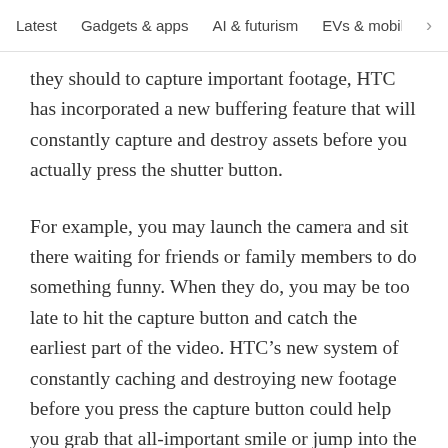Latest   Gadgets & apps   AI & futurism   EVs & mobil >
they should to capture important footage, HTC has incorporated a new buffering feature that will constantly capture and destroy assets before you actually press the shutter button.
For example, you may launch the camera and sit there waiting for friends or family members to do something funny. When they do, you may be too late to hit the capture button and catch the earliest part of the video. HTC’s new system of constantly caching and destroying new footage before you press the capture button could help you grab that all-important smile or jump into the swimming pool.
After you’ve shot your footage, or captured stills,